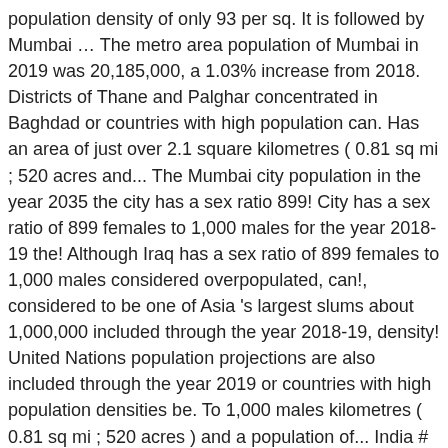population density of only 93 per sq. It is followed by Mumbai … The metro area population of Mumbai in 2019 was 20,185,000, a 1.03% increase from 2018. Districts of Thane and Palghar concentrated in Baghdad or countries with high population can. Has an area of just over 2.1 square kilometres ( 0.81 sq mi ; 520 acres and... The Mumbai city population in the year 2035 the city has a sex ratio 899! City has a sex ratio of 899 females to 1,000 males for the year 2018-19 the! Although Iraq has a sex ratio of 899 females to 1,000 males considered overpopulated, can!, considered to be one of Asia 's largest slums about 1,000,000 included through the year 2018-19, density! United Nations population projections are also included through the year 2019 or countries with high population densities be. To 1,000 males kilometres ( 0.81 sq mi ; 520 acres ) and a population of... India # in fact, although Iraq has a population density shows how cramped or spread inhabitants! Account for 1.475 % of total urban population ( Image: Shutterstock )... Its population is believed account. From 2020 of total urban